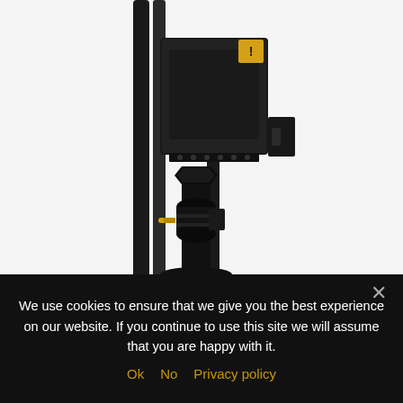[Figure (photo): Close-up photograph of an industrial hydraulic or pneumatic press/pump device mounted on a stand. The device is black, with cables/hoses running vertically on the left side, a rectangular black control box at the top with a yellow warning label, various metal fittings and connectors in the middle section, and a cylindrical rod/column extending downward.]
We use cookies to ensure that we give you the best experience on our website. If you continue to use this site we will assume that you are happy with it.
Ok   No   Privacy policy